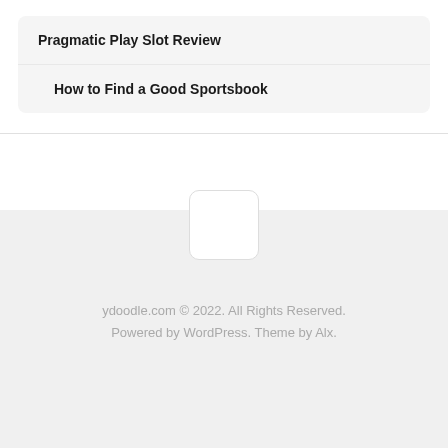Pragmatic Play Slot Review
How to Find a Good Sportsbook
ydoodle.com © 2022. All Rights Reserved. Powered by WordPress. Theme by Alx.